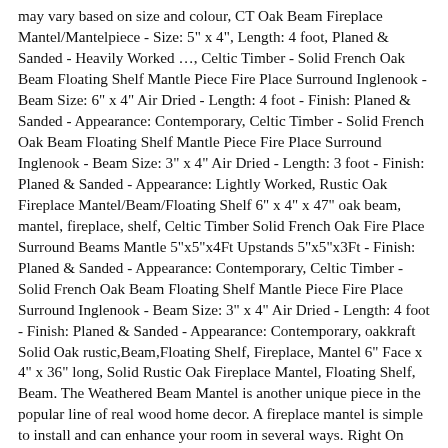may vary based on size and colour, CT Oak Beam Fireplace Mantel/Mantelpiece - Size: 5" x 4", Length: 4 foot, Planed & Sanded - Heavily Worked …, Celtic Timber - Solid French Oak Beam Floating Shelf Mantle Piece Fire Place Surround Inglenook - Beam Size: 6" x 4" Air Dried - Length: 4 foot - Finish: Planed & Sanded - Appearance: Contemporary, Celtic Timber - Solid French Oak Beam Floating Shelf Mantle Piece Fire Place Surround Inglenook - Beam Size: 3" x 4" Air Dried - Length: 3 foot - Finish: Planed & Sanded - Appearance: Lightly Worked, Rustic Oak Fireplace Mantel/Beam/Floating Shelf 6" x 4" x 47" oak beam, mantel, fireplace, shelf, Celtic Timber Solid French Oak Fire Place Surround Beams Mantle 5"x5"x4Ft Upstands 5"x5"x3Ft - Finish: Planed & Sanded - Appearance: Contemporary, Celtic Timber - Solid French Oak Beam Floating Shelf Mantle Piece Fire Place Surround Inglenook - Beam Size: 3" x 4" Air Dried - Length: 4 foot - Finish: Planed & Sanded - Appearance: Contemporary, oakkraft Solid Oak rustic,Beam,Floating Shelf, Fireplace, Mantel 6" Face x 4" x 36" long, Solid Rustic Oak Fireplace Mantel, Floating Shelf, Beam. The Weathered Beam Mantel is another unique piece in the popular line of real wood home decor. A fireplace mantel is simple to install and can enhance your room in several ways. Right On Bracket's floating mantel brackets are a perfect way to support a mantelshelf above a fireplace. Trusted Suppliers of excellent quality Oak & timber products at Unbeatable Prices! £100.00. Oak Fireplace Packages. We usually